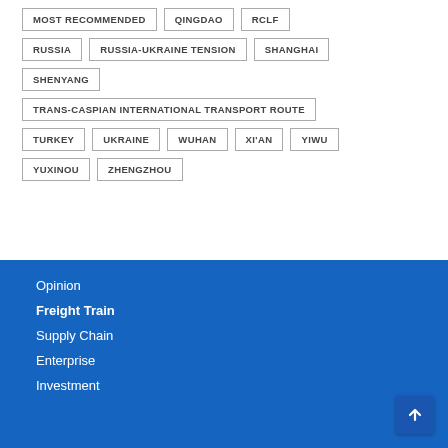MOST RECOMMENDED
QINGDAO
RCLF
RUSSIA
RUSSIA-UKRAINE TENSION
SHANGHAI
SHENYANG
TRANS-CASPIAN INTERNATIONAL TRANSPORT ROUTE
TURKEY
UKRAINE
WUHAN
XI'AN
YIWU
YUXINOU
ZHENGZHOU
Opinion
Freight Train
Supply Chain
Enterprise
Investment